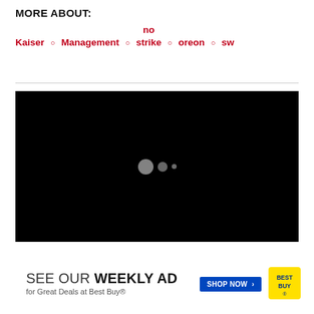MORE ABOUT:
Kaiser ○ Management ○ no strike ○ oreon ○ sw
[Figure (screenshot): Black video player placeholder with three loading dots (large gray circle, medium gray circle, small gray dot) centered in the frame]
[Figure (infographic): Best Buy advertisement banner: 'SEE OUR WEEKLY AD for Great Deals at Best Buy®' with a 'SHOP NOW >' button and Best Buy logo]